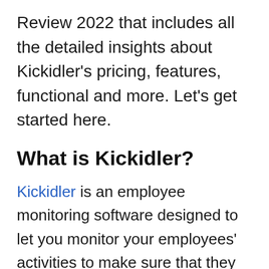Review 2022 that includes all the detailed insights about Kickidler's pricing, features, functional and more. Let's get started here.
What is Kickidler?
Kickidler is an employee monitoring software designed to let you monitor your employees' activities to make sure that they are productive on company time and money. The software enables you to ensure utmost information security by watching your workers' movements vigilantly. Plus you can immediately take over control of a computer in case you spot something suspicious to prevent further action.